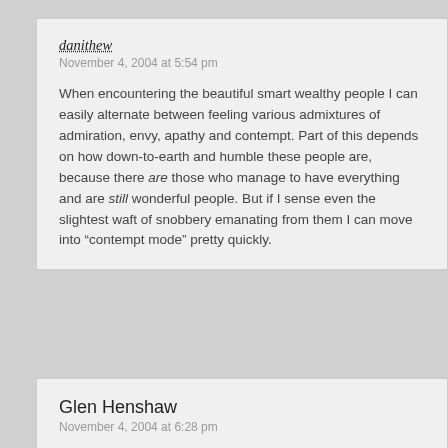danithew
November 4, 2004 at 5:54 pm
When encountering the beautiful smart wealthy people I can easily alternate between feeling various admixtures of admiration, envy, apathy and contempt. Part of this depends on how down-to-earth and humble these people are, because there are those who manage to have everything and are still wonderful people. But if I sense even the slightest waft of snobbery emanating from them I can move into “contempt mode” pretty quickly.
Glen Henshaw
November 4, 2004 at 6:28 pm